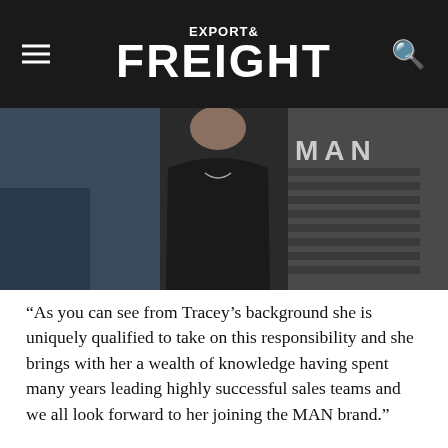EXPORT& FREIGHT
[Figure (photo): A woman in a black blazer standing in front of a MAN truck grille, partially cropped at the top]
“As you can see from Tracey’s background she is uniquely qualified to take on this responsibility and she brings with her a wealth of knowledge having spent many years leading highly successful sales teams and we all look forward to her joining the MAN brand.”
Stefan concluded, “I would also like to thank Daniel who has made a huge impact on the MAN Truck & Bus UK Van business. Over the last two and half years Daniel has shown great commitment to both the brand and the Van business unit, he has helped develop the team, the processes and further expanded and strengthened our customer relationships.We all